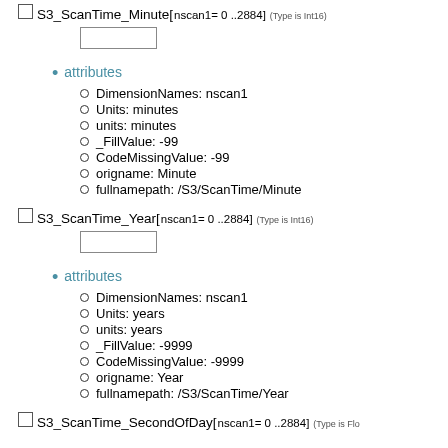S3_ScanTime_Minute[ nscan1= 0 ..2884] (Type is Int16)
attributes
DimensionNames: nscan1
Units: minutes
units: minutes
_FillValue: -99
CodeMissingValue: -99
origname: Minute
fullnamepath: /S3/ScanTime/Minute
S3_ScanTime_Year[ nscan1= 0 ..2884] (Type is Int16)
attributes
DimensionNames: nscan1
Units: years
units: years
_FillValue: -9999
CodeMissingValue: -9999
origname: Year
fullnamepath: /S3/ScanTime/Year
S3_ScanTime_SecondOfDay[ nscan1= 0 ..2884] (Type is Float)